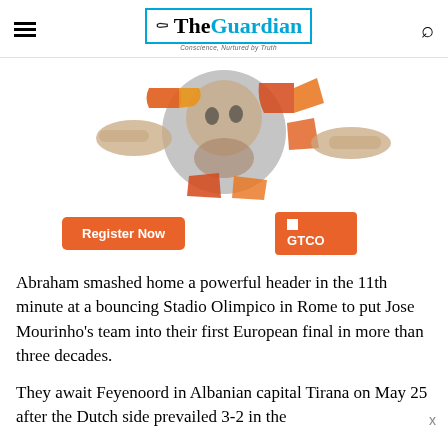The Guardian
[Figure (photo): Advertisement banner showing a child's face surrounded by puzzle pieces with hands placing pieces, alongside a 'Register Now' button and GTCO logo]
Abraham smashed home a powerful header in the 11th minute at a bouncing Stadio Olimpico in Rome to put Jose Mourinho's team into their first European final in more than three decades.
They await Feyenoord in Albanian capital Tirana on May 25 after the Dutch side prevailed 3-2 in the